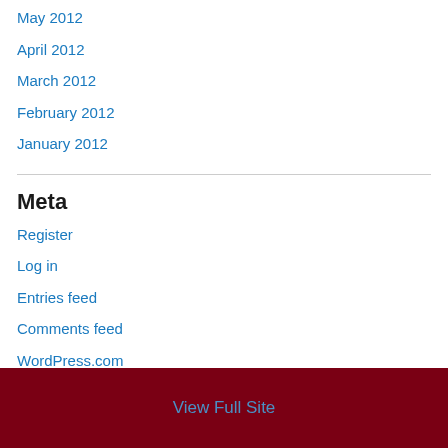May 2012
April 2012
March 2012
February 2012
January 2012
Meta
Register
Log in
Entries feed
Comments feed
WordPress.com
View Full Site